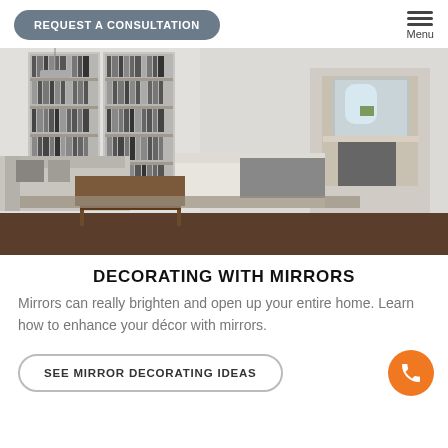REQUEST A CONSULTATION | Menu
[Figure (photo): Elegant living room with white bookshelves filled with books, a white chaise lounge with a gray throw blanket, a traditional sofa, a wooden coffee table, and a large stone fireplace. The room has high ceilings and white paneled walls.]
DECORATING WITH MIRRORS
Mirrors can really brighten and open up your entire home. Learn how to enhance your décor with mirrors.
SEE MIRROR DECORATING IDEAS